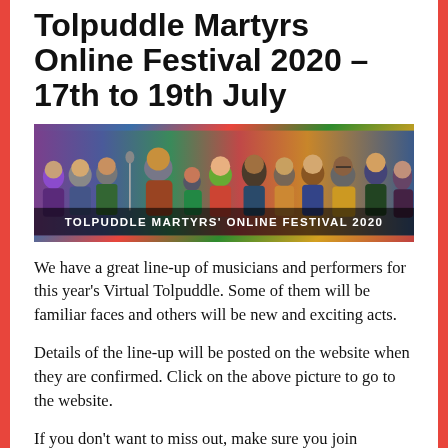Tolpuddle Martyrs Online Festival 2020 – 17th to 19th July
[Figure (photo): Festival banner image showing multiple musicians and performers with text 'TOLPUDDLE MARTYRS' ONLINE FESTIVAL 2020' overlaid at the bottom]
We have a great line-up of musicians and performers for this year's Virtual Tolpuddle. Some of them will be familiar faces and others will be new and exciting acts.
Details of the line-up will be posted on the website when they are confirmed. Click on the above picture to go to the website.
If you don't want to miss out, make sure you join